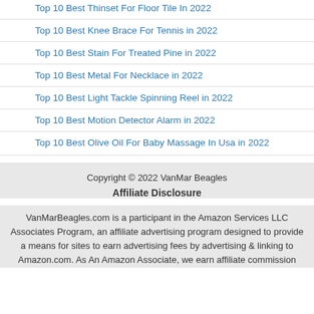Top 10 Best Thinset For Floor Tile In 2022
Top 10 Best Knee Brace For Tennis in 2022
Top 10 Best Stain For Treated Pine in 2022
Top 10 Best Metal For Necklace in 2022
Top 10 Best Light Tackle Spinning Reel in 2022
Top 10 Best Motion Detector Alarm in 2022
Top 10 Best Olive Oil For Baby Massage In Usa in 2022
Copyright © 2022 VanMar Beagles
Affiliate Disclosure
VanMarBeagles.com is a participant in the Amazon Services LLC Associates Program, an affiliate advertising program designed to provide a means for sites to earn advertising fees by advertising & linking to Amazon.com. As An Amazon Associate, we earn affiliate commission